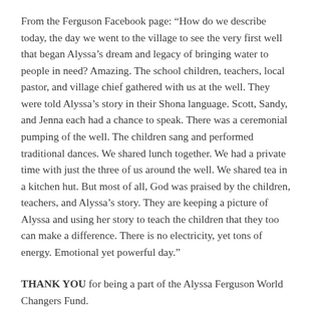From the Ferguson Facebook page: “How do we describe today, the day we went to the village to see the very first well that began Alyssa’s dream and legacy of bringing water to people in need? Amazing. The school children, teachers, local pastor, and village chief gathered with us at the well. They were told Alyssa’s story in their Shona language. Scott, Sandy, and Jenna each had a chance to speak. There was a ceremonial pumping of the well. The children sang and performed traditional dances. We shared lunch together. We had a private time with just the three of us around the well. We shared tea in a kitchen hut. But most of all, God was praised by the children, teachers, and Alyssa’s story. They are keeping a picture of Alyssa and using her story to teach the children that they too can make a difference. There is no electricity, yet tons of energy. Emotional yet powerful day.”
THANK YOU for being a part of the Alyssa Ferguson World Changers Fund.